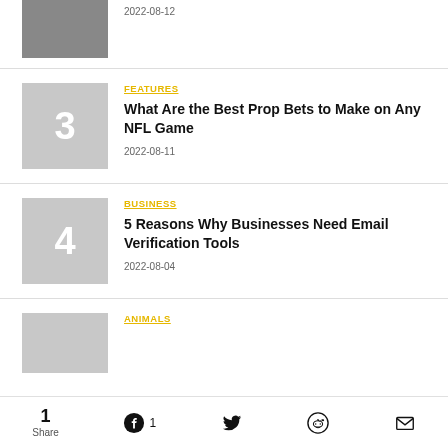2022-08-12
FEATURES | What Are the Best Prop Bets to Make on Any NFL Game | 2022-08-11
BUSINESS | 5 Reasons Why Businesses Need Email Verification Tools | 2022-08-04
ANIMALS
1 Share | Facebook 1 | Twitter | Reddit | Email